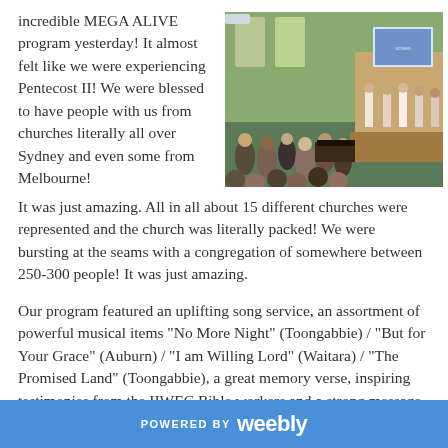incredible MEGA ALIVE program yesterday!  It almost felt like we were experiencing Pentecost II!  We were blessed to have people with us from churches literally all over Sydney and even some from Melbourne!
[Figure (photo): Indoor church gathering with a large congregation, people standing, and performers/choir on stage with a screen visible in the background.]
It was just amazing.  All in all about 15 different churches were represented and the church was literally packed!  We were bursting at the seams with a congregation of somewhere between 250-300 people!  It was just amazing.
Our program featured an uplifting song service, an assortment of powerful musical items "No More Night" (Toongabbie) / "But for Your Grace" (Auburn) / "I am Willing Lord" (Waitara) / "The Promised Land" (Toongabbie), a great memory verse, inspiring testimonies from the IIWEC Bible workers and a strong message
POWERED BY weebly